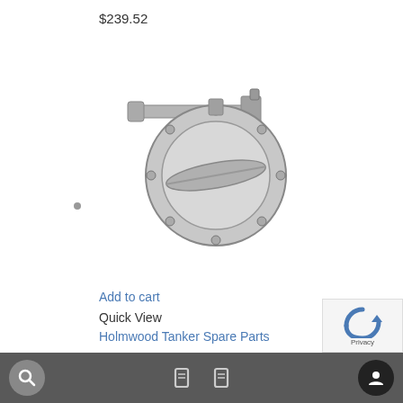$239.52
[Figure (photo): A stainless steel butterfly valve with a lever handle, showing the circular flange face with bolt holes and the disc mechanism inside.]
Add to cart
Quick View
Holmwood Tanker Spare Parts
BUTTERFLY VALVE 4″ (LIQUIP)
$462.90
Privacy